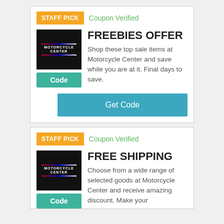STAFF PICK
Coupon Verified
FREEBIES OFFER
Shop these top sale items at Motorcycle Center and save while you are at it. Final days to save.
Code
Get Code
STAFF PICK
Coupon Verified
FREE SHIPPING
Choose from a wide range of selected goods at Motorcycle Center and receive amazing discount. Make your
Code